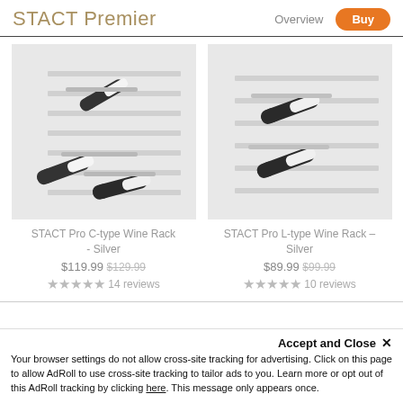STACT Premier — Overview | Buy
[Figure (photo): STACT Pro C-type Wine Rack in Silver, wall-mounted slatwall panel with multiple wine bottles stored horizontally]
[Figure (photo): STACT Pro L-type Wine Rack in Silver, wall-mounted slatwall panel with two wine bottles stored horizontally]
STACT Pro C-type Wine Rack - Silver
STACT Pro L-type Wine Rack - Silver
$119.99 $129.99 ★★★★★ 14 reviews
$89.99 $99.99 ★★★★★ 10 reviews
Accept and Close ✕
Your browser settings do not allow cross-site tracking for advertising. Click on this page to allow AdRoll to use cross-site tracking to tailor ads to you. Learn more or opt out of this AdRoll tracking by clicking here. This message only appears once.